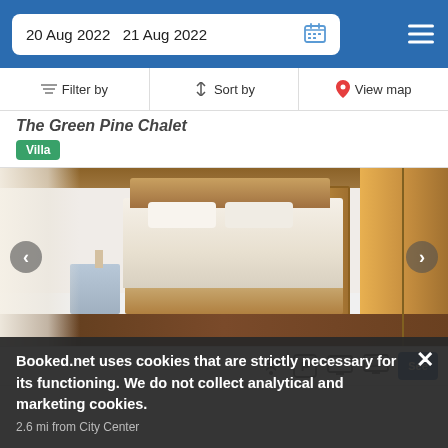20 Aug 2022  21 Aug 2022
Filter by  Sort by  View map
The Green Pine Chalet
Villa
[Figure (photo): Interior bedroom photo of The Green Pine Chalet showing a double bed with white linens, wooden headboard, nightstand, painting on white wall, wooden door, wardrobe with warm wood finish, and wooden ceiling beams]
Booked.net uses cookies that are strictly necessary for its functioning. We do not collect analytical and marketing cookies.
2.6 mi from City Center